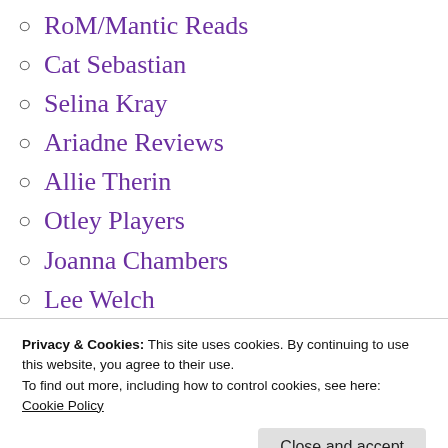RoM/Mantic Reads
Cat Sebastian
Selina Kray
Ariadne Reviews
Allie Therin
Otley Players
Joanna Chambers
Lee Welch
Kim Katil
J. R. Lawrie
The Ward Room
Neal Schaffer Blog
Privacy & Cookies: This site uses cookies. By continuing to use this website, you agree to their use.
To find out more, including how to control cookies, see here:
Cookie Policy
Sylvia Too